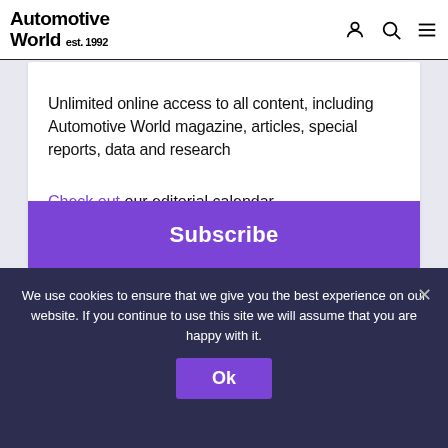Automotive World est. 1992
Unlimited online access to all content, including Automotive World magazine, articles, special reports, data and research
Check out our editorial calendar
Subscribe
We use cookies to ensure that we give you the best experience on our website. If you continue to use this site we will assume that you are happy with it.
Ok